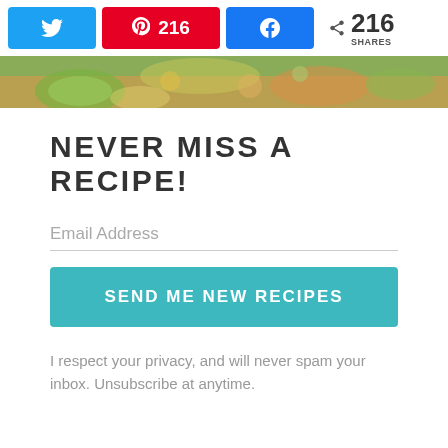[Figure (screenshot): Social share bar with Twitter button, Pinterest button showing 216, Facebook button, and share count showing 216 SHARES]
[Figure (photo): Partial top edge of a food bowl photo showing avocado, vegetables, and garnishes]
NEVER MISS A RECIPE!
Email Address
SEND ME NEW RECIPES
I respect your privacy, and will never spam your inbox. Unsubscribe at anytime.